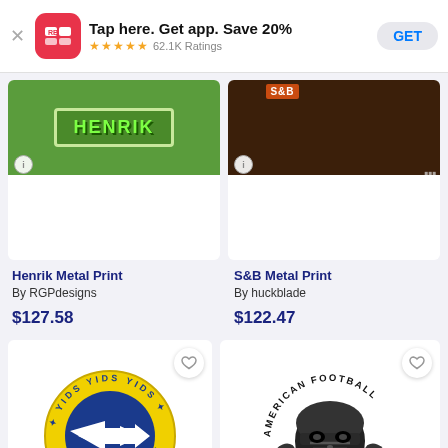[Figure (screenshot): App store banner: RB logo, 'Tap here. Get app. Save 20%', 5-star rating, 62.1K Ratings, GET button]
[Figure (photo): Henrik Metal Print product thumbnail — green background with 'HENRIK' graffiti text]
Henrik Metal Print
By RGPdesigns
$127.58
[Figure (photo): S&B Metal Print product thumbnail — dark brown background with orange text and figure]
S&B Metal Print
By huckblade
$122.47
[Figure (illustration): Circular badge: 'YIDS YIDS YIDS' and 'AWAY OF LIFE' text around a British Rail logo on yellow/blue background]
[Figure (illustration): American Football skull illustration with 'AMERICAN FOOTBALL' arc text and 'LIVES MATTER' at bottom with stars]